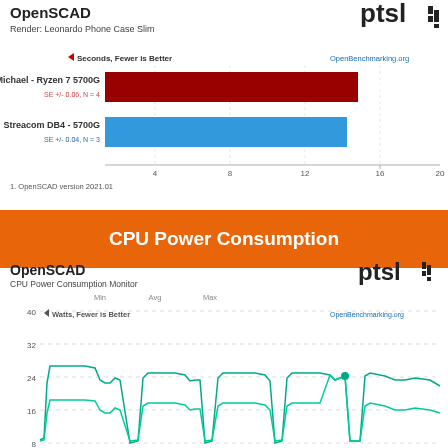OpenSCAD
Render: Leonardo Phone Case Slim
[Figure (bar-chart): OpenSCAD - Render: Leonardo Phone Case Slim]
1. OpenSCAD version 2021.01
CPU Power Consumption
OpenSCAD
CPU Power Consumption Monitor
[Figure (line-chart): Continuous waveform showing CPU power consumption over time with Min, Avg, Max legend. Y-axis: 8, 16, 24, 32, 40. Two green lines tracking power usage fluctuating between ~8 and ~24 watts in a repeating pattern.]